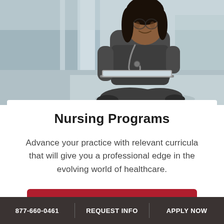[Figure (photo): A female nurse wearing dark grey scrubs and a stethoscope, sitting cross-legged and looking down at a tablet or laptop, with a modern glass building in the background.]
Nursing Programs
Advance your practice with relevant curricula that will give you a professional edge in the evolving world of healthcare.
VIEW NOW
877-660-0461 | REQUEST INFO | APPLY NOW